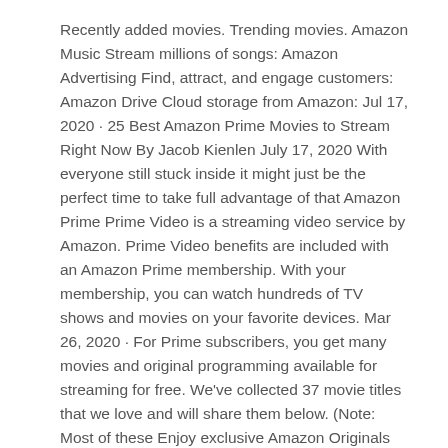Recently added movies. Trending movies. Amazon Music Stream millions of songs: Amazon Advertising Find, attract, and engage customers: Amazon Drive Cloud storage from Amazon: Jul 17, 2020 · 25 Best Amazon Prime Movies to Stream Right Now By Jacob Kienlen July 17, 2020 With everyone still stuck inside it might just be the perfect time to take full advantage of that Amazon Prime Prime Video is a streaming video service by Amazon. Prime Video benefits are included with an Amazon Prime membership. With your membership, you can watch hundreds of TV shows and movies on your favorite devices. Mar 26, 2020 · For Prime subscribers, you get many movies and original programming available for streaming for free. We've collected 37 movie titles that we love and will share them below. (Note: Most of these Enjoy exclusive Amazon Originals as well as popular movies and TV shows. Watch anytime, anywhere. Start your free trial.
sites indiens aux états-unis